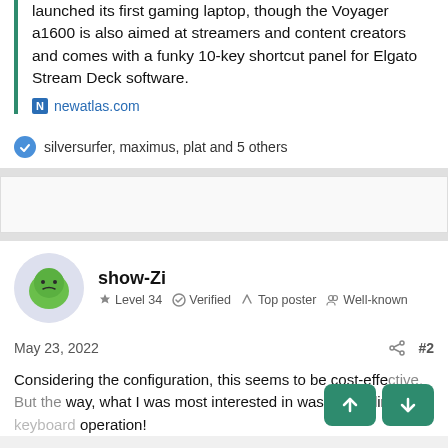launched its first gaming laptop, though the Voyager a1600 is also aimed at streamers and content creators and comes with a funky 10-key shortcut panel for Elgato Stream Deck software.
newatlas.com
silversurfer, maximus, plat and 5 others
show-Zi
Level 34  Verified  Top poster  Well-known
May 23, 2022
#2
Considering the configuration, this seems to be cost-effective. But the way, what I was most interested in was the feeling of keyboard operation!